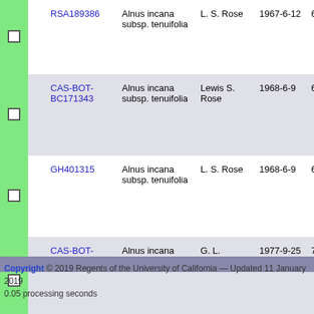|  |  | ID | Taxon | Collector | Date | Num |
| --- | --- | --- | --- | --- | --- | --- |
| ☐ |  | RSA189386 | Alnus incana subsp. tenuifolia | L. S. Rose | 1967-6-12 | 6711 |
| ☐ |  | CAS-BOT-BC171343 | Alnus incana subsp. tenuifolia | Lewis S. Rose | 1968-6-9 | 6807 |
| ☐ |  | GH401315 | Alnus incana subsp. tenuifolia | L. S. Rose | 1968-6-9 | 6807 |
| ☐ |  | CAS-BOT-BC171294 | Alnus incana subsp. tenuifolia | G. L. Stebbins | 1977-9-25 | 7715 |
Copyright © 2019 Regents of the University of California — Updated 11 January 2019
0.05 processing seconds